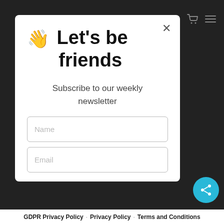[Figure (screenshot): Navigation icons: shopping cart and hamburger menu in top-right corner]
👋 Let's be friends
Subscribe to our weekly newsletter
Name
Email
GDPR Privacy Policy · Privacy Policy · Terms and Conditions